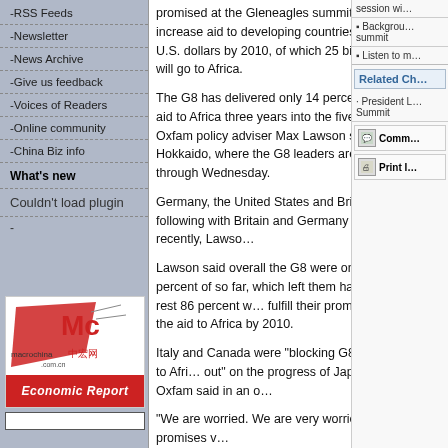-RSS Feeds
-Newsletter
-News Archive
-Give us feedback
-Voices of Readers
-Online community
-China Biz info
What's new
Couldn't load plugin
[Figure (logo): Macrochina Economic Report logo with red bar and Chinese characters]
promised at the Gleneagles summit in 2005 to increase aid to developing countries by 50 billion U.S. dollars by 2010, of which 25 billion U.S. dollars will go to Africa.
The G8 has delivered only 14 percent of its promised aid to Africa three years into the five-year promise, Oxfam policy adviser Max Lawson said in Toyako, Hokkaido, where the G8 leaders are meeting Monday through Wednesday.
Germany, the United States and Britain have been following with Britain and Germany increasing the aid recently, Lawso...
Lawson said overall the G8 were only delivering 14 percent of so far, which left them having to deliver the rest 86 percent w... fulfill their promises of doubling the aid to Africa by 2010.
Italy and Canada were "blocking G8 progress" on aid to Afri... out" on the progress of Japan and France, Oxfam said in an o...
"We are worried. We are very worried that the aid promises v...
session wi...
Background... summit
Listen to m...
Related Ch...
President L... Summit
Comm...
Print I...